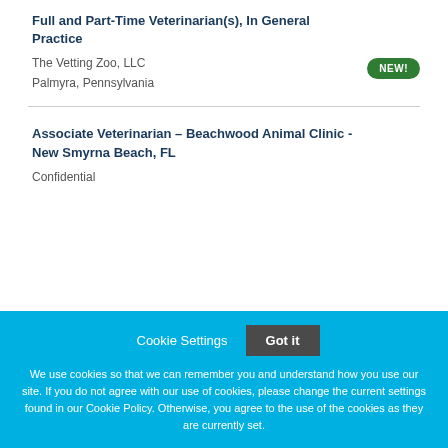Full and Part-Time Veterinarian(s), In General Practice
The Vetting Zoo, LLC
Palmyra, Pennsylvania
Associate Veterinarian – Beachwood Animal Clinic - New Smyrna Beach, FL
Confidential
Cookie Settings   Got it

We use cookies so that we can remember you and understand how you use our site. If you do not agree with our use of cookies, please change the current settings found in our Cookie Policy. Otherwise, you agree to the use of the cookies as they are currently set.